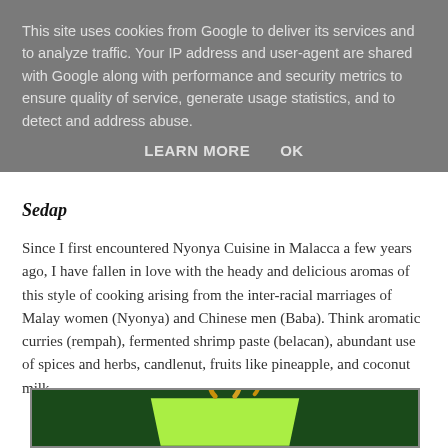This site uses cookies from Google to deliver its services and to analyze traffic. Your IP address and user-agent are shared with Google along with performance and security metrics to ensure quality of service, generate usage statistics, and to detect and address abuse.
LEARN MORE   OK
Sedap
Since I first encountered Nyonya Cuisine in Malacca a few years ago, I have fallen in love with the heady and delicious aromas of this style of cooking arising from the inter-racial marriages of Malay women (Nyonya) and Chinese men (Baba). Think aromatic curries (rempah), fermented shrimp paste (belacan), abundant use of spices and herbs, candlenut, fruits like pineapple, and coconut milk.
[Figure (illustration): Partial view of an illustration showing a bright green cup/bowl shape with golden steam rising from it, on a dark green background]